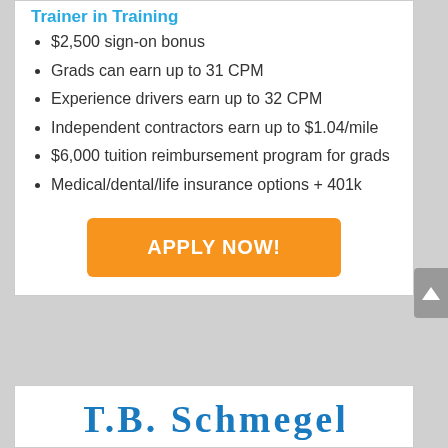Trainer in Training
$2,500 sign-on bonus
Grads can earn up to 31 CPM
Experience drivers earn up to 32 CPM
Independent contractors earn up to $1.04/mile
$6,000 tuition reimbursement program for grads
Medical/dental/life insurance options + 401k
APPLY NOW!
[Figure (logo): T.B. Schmegel company logo in blue gothic/blackletter font]